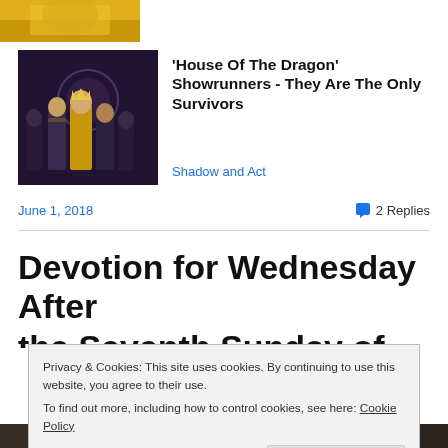[Figure (photo): Partial top image showing a character in yellow costume, cropped at top]
[Figure (photo): House Of The Dragon cast photo - group of characters in medieval fantasy costumes seated on throne]
'House Of The Dragon' Showrunners - They Are The Only Survivors
Shadow and Act
June 1, 2018
2 Replies
Devotion for Wednesday After the Seventh Sunday of Trin...
Privacy & Cookies: This site uses cookies. By continuing to use this website, you agree to their use.
To find out more, including how to control cookies, see here: Cookie Policy
Close and accept
[Figure (photo): Bottom image strip - partially visible dark scene]